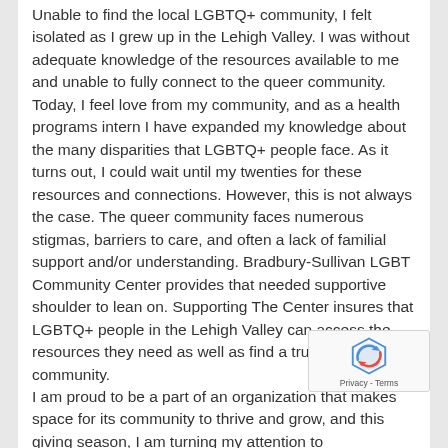Unable to find the local LGBTQ+ community, I felt isolated as I grew up in the Lehigh Valley. I was without adequate knowledge of the resources available to me and unable to fully connect to the queer community. Today, I feel love from my community, and as a health programs intern I have expanded my knowledge about the many disparities that LGBTQ+ people face. As it turns out, I could wait until my twenties for these resources and connections. However, this is not always the case. The queer community faces numerous stigmas, barriers to care, and often a lack of familial support and/or understanding. Bradbury-Sullivan LGBT Community Center provides that needed supportive shoulder to lean on. Supporting The Center insures that LGBTQ+ people in the Lehigh Valley can access the resources they need as well as find a true, caring community.
I am proud to be a part of an organization that makes space for its community to thrive and grow, and this giving season, I am turning my attention to organizations that guide and aid folks like me who are